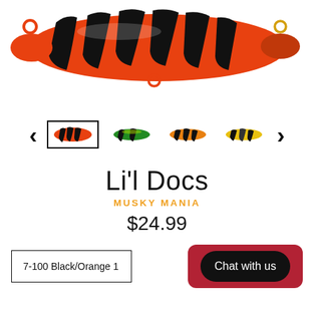[Figure (photo): Orange and black striped fishing lure (spoon/spinner bait) with metal rings, viewed from above, partially cropped at top of page.]
[Figure (other): Thumbnail image carousel with left/right arrows and four small fishing lure thumbnails: orange/black (selected), green, orange/yellow striped, and yellow/black. First thumbnail has a selection border.]
Li'l Docs
MUSKY MANIA
$24.99
7-100 Black/Orange 1
Chat with us